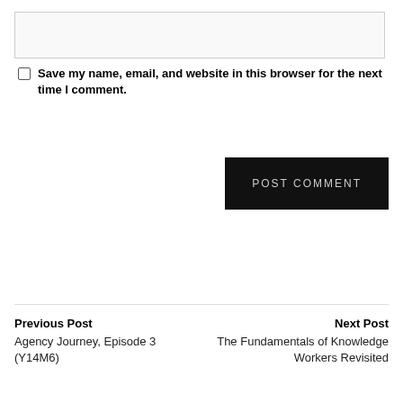[text input box]
Save my name, email, and website in this browser for the next time I comment.
POST COMMENT
Previous Post
Agency Journey, Episode 3 (Y14M6)
Next Post
The Fundamentals of Knowledge Workers Revisited